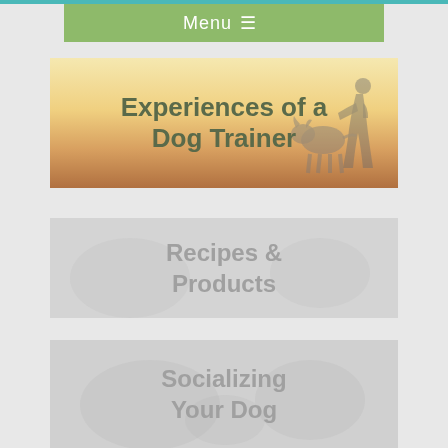Menu ≡
[Figure (illustration): Banner image with text 'Experiences of a Dog Trainer' showing silhouette of a person and dog against warm sunset background]
[Figure (illustration): Faded banner image with text 'Recipes & Products' showing a light background with a dog silhouette]
[Figure (illustration): Faded banner image with text 'Socializing Your Dog' showing a light misty background with dogs]